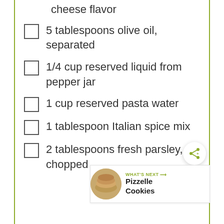cheese flavor
5 tablespoons olive oil, separated
1/4 cup reserved liquid from pepper jar
1 cup reserved pasta water
1 tablespoon Italian spice mix
2 tablespoons fresh parsley, chopped